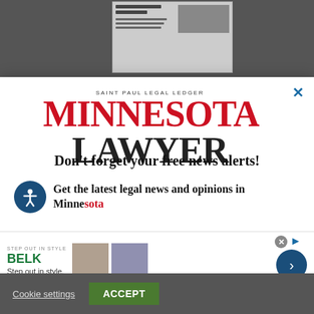[Figure (screenshot): Dark background with newspaper thumbnail visible]
[Figure (logo): Minnesota Lawyer / Saint Paul Legal Ledger logo with red MINNESOTA and black Lawyer text]
Don't forget your free news alerts!
Get the latest legal news and opinions in Minnesota
[Figure (screenshot): BELK advertisement - Step out in style. www.belk.com with product thumbnails]
SIGN UP FOR FREE
Cookie settings
ACCEPT